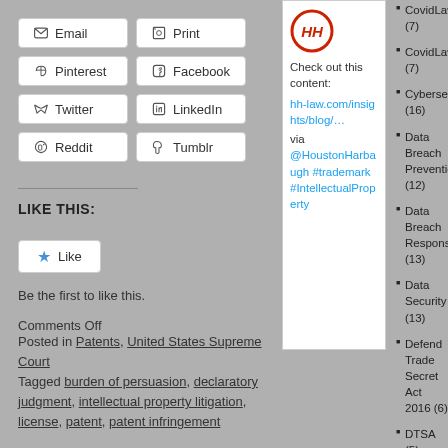Email
Print
Pinterest
Facebook
Twitter
LinkedIn
Reddit
Tumblr
LIKE THIS:
Be the first to like this.
Comments Off
Posted in Patents, United States Supreme Court
Tagged burden of persuasion, declaratory judgment, intellectual property litigation, license, patent, patent infringement
[Figure (screenshot): Tweet card with HH law logo, text 'Check out this content: hh-law.com/insights/blog/… via @HoustonHarbaugh #trademark #IntellectualProperty']
CovidLaw (7)
CovidLaw1 (7)
Cybersecuri (16)
Data Breach Prevention (12)
Data Breach Response (13)
Data Security (13)
Defend Trade Secret Act 2016 (6)
DTSA (5)